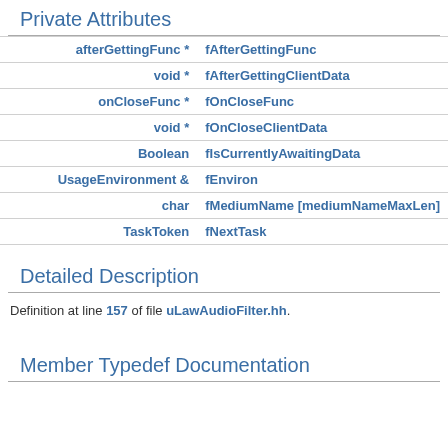Private Attributes
| Type | Name |
| --- | --- |
| afterGettingFunc * | fAfterGettingFunc |
| void * | fAfterGettingClientData |
| onCloseFunc * | fOnCloseFunc |
| void * | fOnCloseClientData |
| Boolean | fIsCurrentlyAwaitingData |
| UsageEnvironment & | fEnviron |
| char | fMediumName [mediumNameMaxLen] |
| TaskToken | fNextTask |
Detailed Description
Definition at line 157 of file uLawAudioFilter.hh.
Member Typedef Documentation